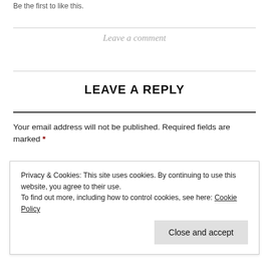Be the first to like this.
Leave a comment
LEAVE A REPLY
Your email address will not be published. Required fields are marked *
Privacy & Cookies: This site uses cookies. By continuing to use this website, you agree to their use.
To find out more, including how to control cookies, see here: Cookie Policy
Close and accept